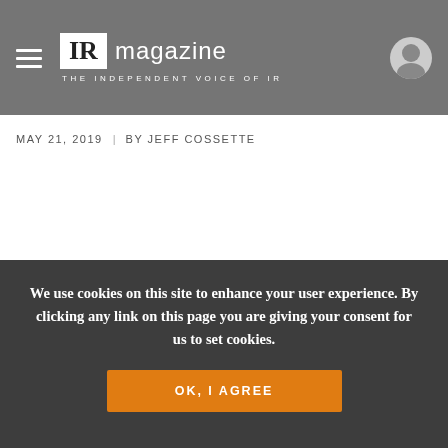IR magazine — THE INDEPENDENT VOICE OF IR
MAY 21, 2019 | BY JEFF COSSETTE
We use cookies on this site to enhance your user experience. By clicking any link on this page you are giving your consent for us to set cookies.
OK, I AGREE